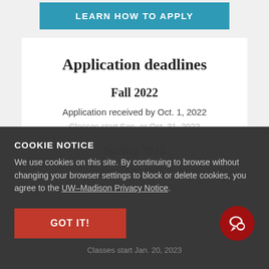[Figure (screenshot): Blue 'LEARN HOW TO APPLY' button at top of page]
Application deadlines
Fall 2022
Application received by Oct. 1, 2022
Classes start Sep. or Oct. 31, 2022
Spring 2023
Application received by Oct. 1, 2022 (partially visible)
Classes start Jan. 20, 2023 (partially visible)
COOKIE NOTICE
We use cookies on this site. By continuing to browse without changing your browser settings to block or delete cookies, you agree to the UW–Madison Privacy Notice.
GOT IT!